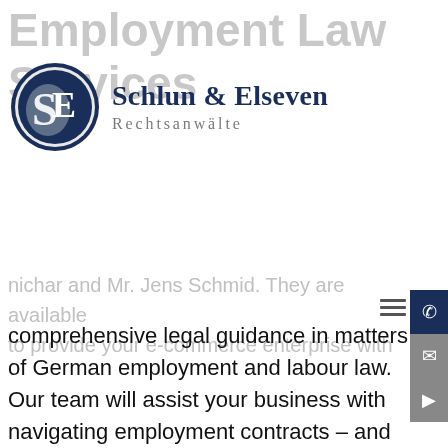[Figure (logo): Schlun & Elseven Rechtsanwälte logo with circular SE monogram badge]
comprehensive legal guidance in matters of German employment and labour law. Our team will assist your business with navigating employment contracts – and ensuring that they are legally compliant – advising CEOS and managing directors regarding their rights, drafting policies relating to discrimination, sexual harassment and bullying, guiding your company in matters of termination and avoiding unfair dismissal claims, and more.